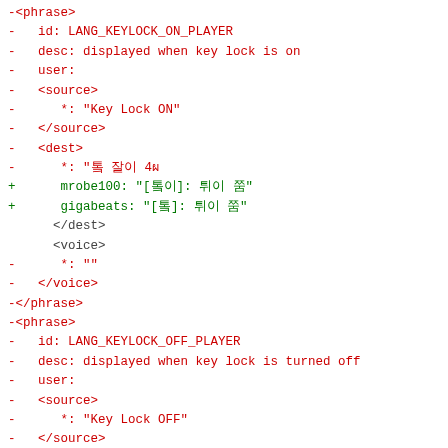Diff code block showing YAML phrase entries for LANG_KEYLOCK_ON_PLAYER and LANG_KEYLOCK_OFF_PLAYER with red removed lines and green added lines.